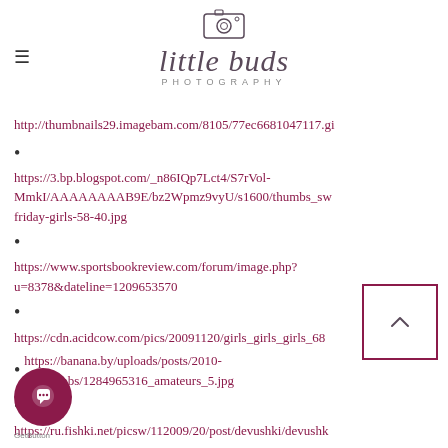little buds PHOTOGRAPHY
http://thumbnails29.imagebam.com/8105/77ec66810471117.gi
https://3.bp.blogspot.com/_n86IQp7Lct4/S7rVol-MmkI/AAAAAAAAB9E/bz2Wpmz9vyU/s1600/thumbs_sw friday-girls-58-40.jpg
https://www.sportsbookreview.com/forum/image.php?u=8378&dateline=1209653570
https://cdn.acidcow.com/pics/20091120/girls_girls_girls_68
https://banana.by/uploads/posts/2010-09/thumbs/1284965316_amateurs_5.jpg
https://ru.fishki.net/picsw/112009/20/post/devushki/devushk